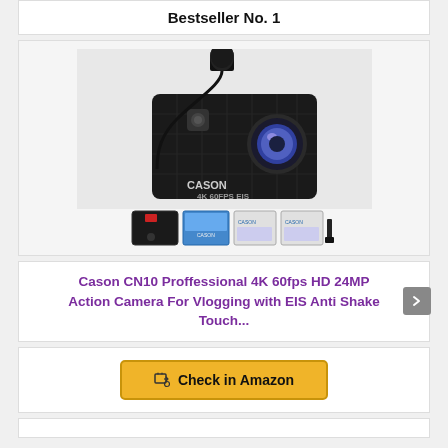Bestseller No. 1
[Figure (photo): Cason CN10 action camera product photo with external microphone attached, shown with accessories: remote control, packaging box, two batteries, and cable]
Cason CN10 Proffessional 4K 60fps HD 24MP Action Camera For Vlogging with EIS Anti Shake Touch...
Check in Amazon